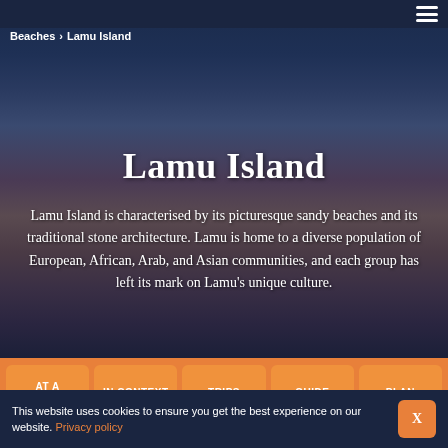Beaches > Lamu Island
Lamu Island
Lamu Island is characterised by its picturesque sandy beaches and its traditional stone architecture. Lamu is home to a diverse population of European, African, Arab, and Asian communities, and each group has left its mark on Lamu’s unique culture.
AT A GLANCE
IN CONTEXT
TRIPS
GUIDE
PLAN
This website uses cookies to ensure you get the best experience on our website. Privacy policy